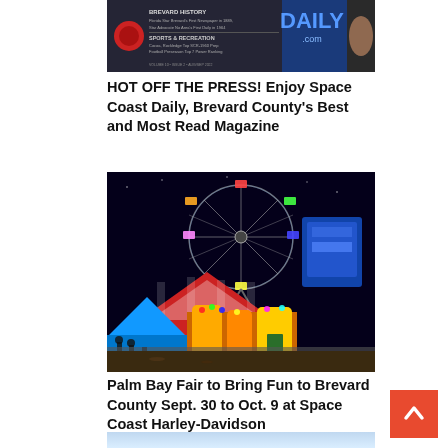[Figure (photo): Cover of Space Coast Daily magazine showing the DAILY.com logo with blue banner on right and article listings on left against dark background]
HOT OFF THE PRESS! Enjoy Space Coast Daily, Brevard County’s Best and Most Read Magazine
[Figure (photo): Night photo of a carnival or fair showing an illuminated Ferris wheel, colorful tents, and carnival rides at the Palm Bay Fair]
Palm Bay Fair to Bring Fun to Brevard County Sept. 30 to Oct. 9 at Space Coast Harley-Davidson
[Figure (photo): Partial image of another article, light blue background visible at bottom of page]